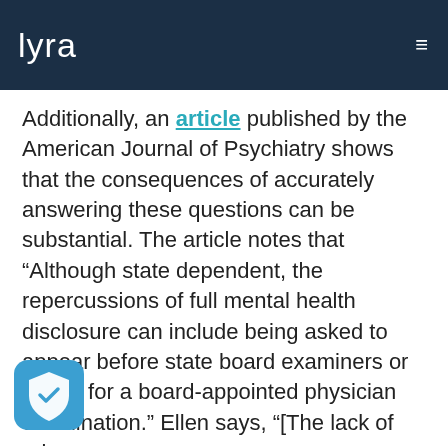lyra
Additionally, an article published by the American Journal of Psychiatry shows that the consequences of accurately answering these questions can be substantial. The article notes that “Although state dependent, the repercussions of full mental health disclosure can include being asked to appear before state board examiners or to pay for a board-appointed physician examination.” Ellen says, “[The lack of privacy